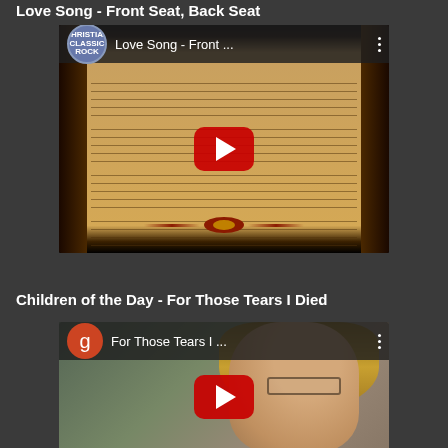Love Song - Front Seat, Back Seat
[Figure (screenshot): YouTube video thumbnail for 'Love Song - Front ...' from Christian Classic Rock channel, showing sheet music on aged parchment background with red YouTube play button overlay]
Children of the Day - For Those Tears I Died
[Figure (screenshot): YouTube video thumbnail for 'For Those Tears I ...' from 'g' channel (orange icon), showing a young woman with glasses and long blonde hair, with red YouTube play button overlay]